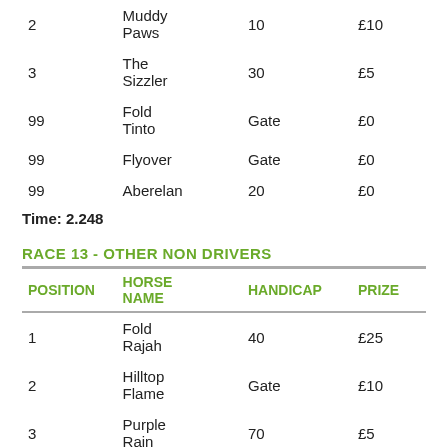| POSITION | HORSE NAME | HANDICAP | PRIZE |
| --- | --- | --- | --- |
| 2 | Muddy Paws | 10 | £10 |
| 3 | The Sizzler | 30 | £5 |
| 99 | Fold Tinto | Gate | £0 |
| 99 | Flyover | Gate | £0 |
| 99 | Aberelan | 20 | £0 |
Time: 2.248
RACE 13 - OTHER NON DRIVERS
| POSITION | HORSE NAME | HANDICAP | PRIZE |
| --- | --- | --- | --- |
| 1 | Fold Rajah | 40 | £25 |
| 2 | Hilltop Flame | Gate | £10 |
| 3 | Purple Rain | 70 | £5 |
| 4 | Maple Star | Gate | £0 |
Time: 2.158